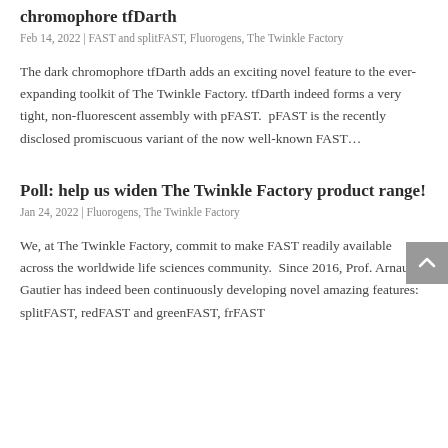chromophore tfDarth
Feb 14, 2022 | FAST and splitFAST, Fluorogens, The Twinkle Factory
The dark chromophore tfDarth adds an exciting novel feature to the ever-expanding toolkit of The Twinkle Factory. tfDarth indeed forms a very tight, non-fluorescent assembly with pFAST.  pFAST is the recently disclosed promiscuous variant of the now well-known FAST…
Poll: help us widen The Twinkle Factory product range!
Jan 24, 2022 | Fluorogens, The Twinkle Factory
We, at The Twinkle Factory, commit to make FAST readily available across the worldwide life sciences community.  Since 2016, Prof. Arnaud Gautier has indeed been continuously developing novel amazing features: splitFAST, redFAST and greenFAST, frFAST